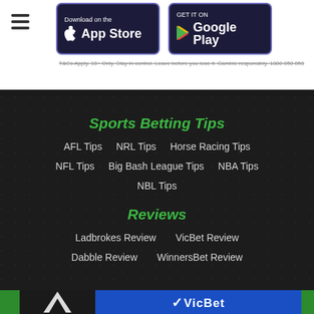[Figure (screenshot): App Store and Google Play download buttons on white background with hamburger menu icon]
T&Cs Apply. 18+ Only. Stay in control. Leave before you lose it. Gamble responsibly. 1800 858 858
Sports Betting Tips
AFL Tips
NRL Tips
Horse Racing Tips
NFL Tips
Big Bash League Tips
NBA Tips
NBL Tips
Reviews
Ladbrokes Review
VicBet Review
Dabble Review
WinnersBet Review
[Figure (logo): VicBet logo banner at bottom]